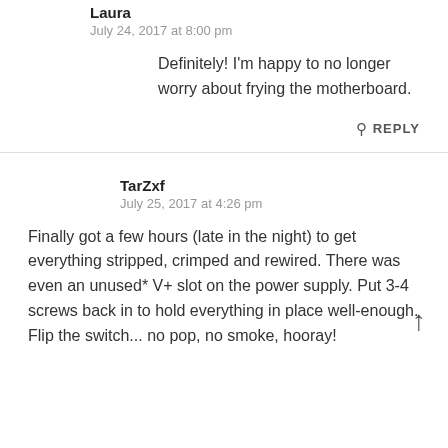Laura
July 24, 2017 at 8:00 pm
Definitely! I'm happy to no longer worry about frying the motherboard.
REPLY
TarZxf
July 25, 2017 at 4:26 pm
Finally got a few hours (late in the night) to get everything stripped, crimped and rewired. There was even an unused* V+ slot on the power supply. Put 3-4 screws back in to hold everything in place well-enough. Flip the switch... no pop, no smoke, hooray!